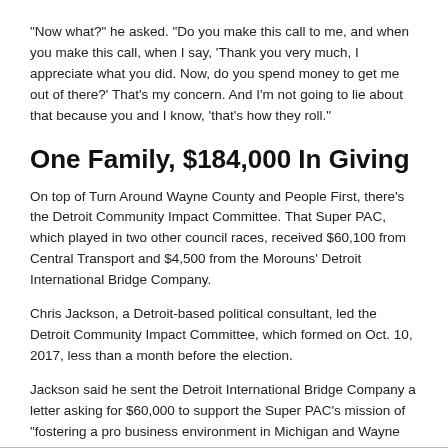“Now what?” he asked. “Do you make this call to me, and when you make this call, when I say, ‘Thank you very much, I appreciate what you did. Now, do you spend money to get me out of there?’ That’s my concern. And I’m not going to lie about that because you and I know, ‘that’s how they roll.”
One Family, $184,000 In Giving
On top of Turn Around Wayne County and People First, there’s the Detroit Community Impact Committee. That Super PAC, which played in two other council races, received $60,100 from Central Transport and $4,500 from the Morouns’ Detroit International Bridge Company.
Chris Jackson, a Detroit-based political consultant, led the Detroit Community Impact Committee, which formed on Oct. 10, 2017, less than a month before the election.
Jackson said he sent the Detroit International Bridge Company a letter asking for $60,000 to support the Super PAC’s mission of “fostering a pro business environment in Michigan and Wayne